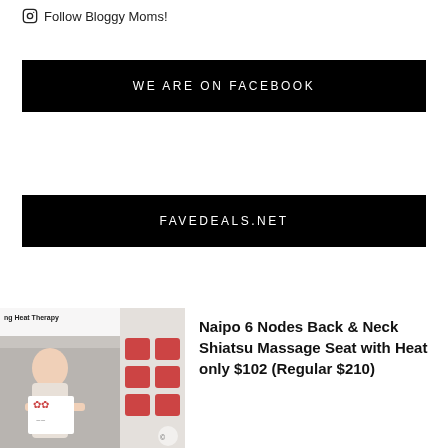Follow Bloggy Moms!
WE ARE ON FACEBOOK
FAVEDEALS.NET
[Figure (photo): Product image of Naipo massage seat showing heat therapy and full body relax features]
Naipo 6 Nodes Back & Neck Shiatsu Massage Seat with Heat only $102 (Regular $210)